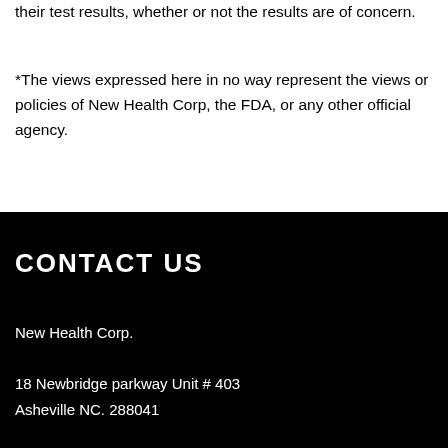their test results, whether or not the results are of concern.
*The views expressed here in no way represent the views or policies of New Health Corp, the FDA, or any other official agency.
CONTACT US
New Health Corp.
18 Newbridge parkway Unit # 403
Asheville NC. 288041
Tel: 1-877-263-3555